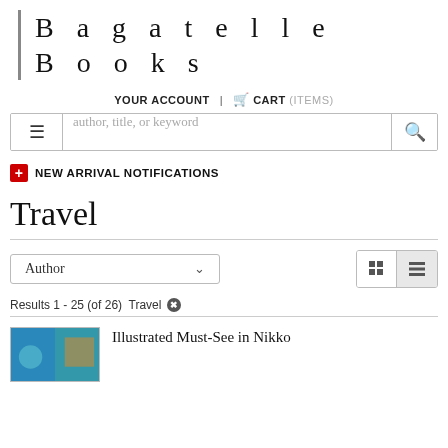Bagatelle Books
YOUR ACCOUNT | CART (ITEMS)
[Figure (screenshot): Search bar with hamburger menu icon, placeholder text 'author, title, or keyword', and search icon]
NEW ARRIVAL NOTIFICATIONS
Travel
Author sort dropdown and grid/list view toggle
Results 1 - 25 (of 26)  Travel ✕
Illustrated Must-See in Nikko